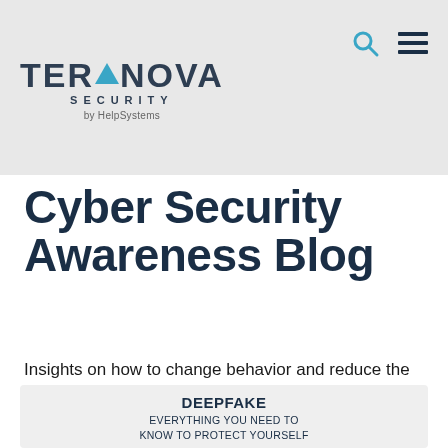[Figure (logo): Terranova Security by HelpSystems logo with navigation icons (search and hamburger menu)]
Cyber Security Awareness Blog
Insights on how to change behavior and reduce the human risk
[Figure (illustration): Deepfake article card with title 'DEEPFAKE EVERYTHING YOU NEED TO KNOW TO PROTECT YOURSELF' and a partially visible phone/face illustration at the bottom]